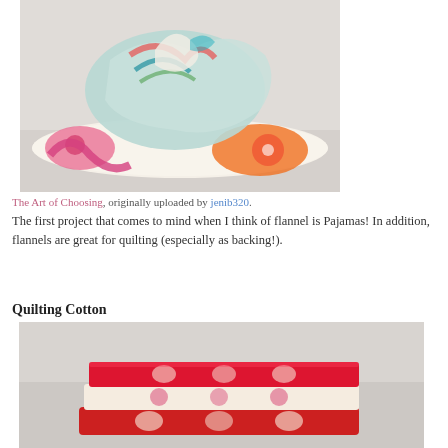[Figure (photo): Stack of colorful patterned fabric rolls and folded fabric pieces. Top fabric is loosely bundled in teal/blue patterns, bottom is a rolled fabric with pink floral and orange floral patterns on a cream background.]
The Art of Choosing, originally uploaded by jenib320.
The first project that comes to mind when I think of flannel is Pajamas! In addition, flannels are great for quilting (especially as backing!).
Quilting Cotton
[Figure (photo): Folded and stacked quilting cotton fabrics in red and cream with floral patterns. Multiple layers of red/pink and cream fabric with flower designs.]